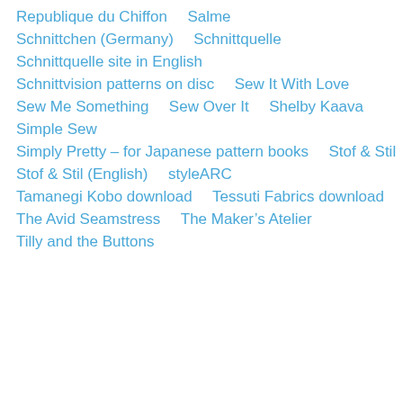Republique du Chiffon
Salme
Schnittchen (Germany)
Schnittquelle
Schnittquelle site in English
Schnittvision patterns on disc
Sew It With Love
Sew Me Something
Sew Over It
Shelby Kaava
Simple Sew
Simply Pretty – for Japanese pattern books
Stof & Stil
Stof & Stil (English)
styleARC
Tamanegi Kobo download
Tessuti Fabrics download
The Avid Seamstress
The Maker's Atelier
Tilly and the Buttons